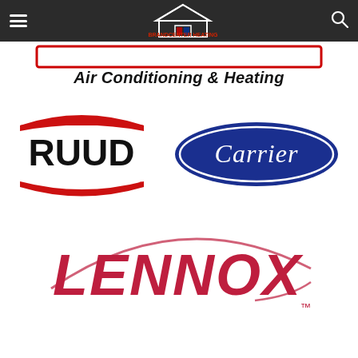Brandcenter Heating Air Conditioning Inc
[Figure (logo): Air Conditioning & Heating company logo with banner]
[Figure (logo): RUUD brand logo in red and black]
[Figure (logo): Carrier brand logo in blue oval]
[Figure (logo): Lennox brand logo in crimson red with swoosh]